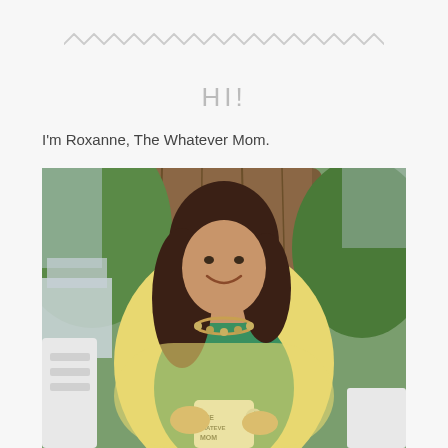[Figure (illustration): Decorative zigzag/wavy line divider in light gray]
HI!
I'm Roxanne, The Whatever Mom.
[Figure (photo): A smiling woman with long dark hair, wearing a yellow cardigan over a green top and a beaded necklace, sitting outdoors in front of a large tree trunk, holding a white mug that reads 'THE WHATEVER MOM']